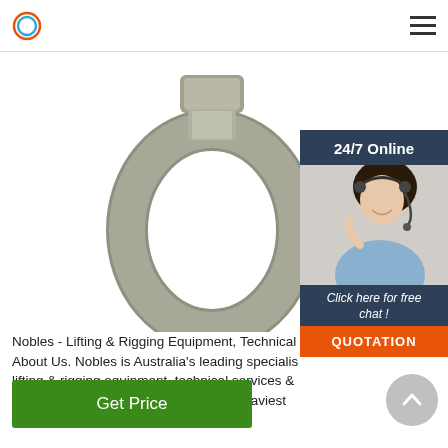Nobles - Lifting & Rigging Equipment
[Figure (photo): Metal swivel ring / lifting eye bolt hardware, galvanized steel, photographed on white background]
[Figure (infographic): 24/7 Online chat widget with photo of female customer service agent wearing headset, dark blue header, orange QUOTATION button, italic 'Click here for free chat!' call to action]
Nobles - Lifting & Rigging Equipment, Technical About Us. Nobles is Australia's leading specialist lifting & rigging equipment, technical services & design for complete solutions to your heaviest and most complex lifting requirements.
[Figure (other): Green 'Get Price' button]
[Figure (other): Grey circular scroll-to-top arrow button]